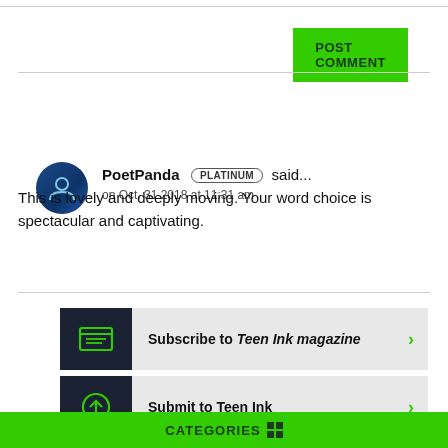POST COMMENT
PoetPanda PLATINUM said... on Oct. 31 2018 at 11:31 am
This is lovely and deeply moving. Your word choice is spectacular and captivating.
Subscribe to Teen Ink magazine
Submit to Teen Ink
CATEGORIES